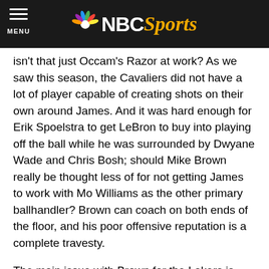NBC Sports
isn't that just Occam's Razor at work? As we saw this season, the Cavaliers did not have a lot of player capable of creating shots on their own around James. And it was hard enough for Erik Spoelstra to get LeBron to buy into playing off the ball while he was surrounded by Dwyane Wade and Chris Bosh; should Mike Brown really be thought less of for not getting James to work with Mo Williams as the other primary ballhandler? Brown can coach on both ends of the floor, and his poor offensive reputation is a complete travesty.
The main issue with Brown for the Lakers is whether he's done enough to earn the respect of the Laker veterans, namely Kobe Bryant. Even though Kobe's matured over the years, he's still prone to hijacking the offense and doing things his own way, and he may not want to listen to a coach with 11 less rings than his previous one.